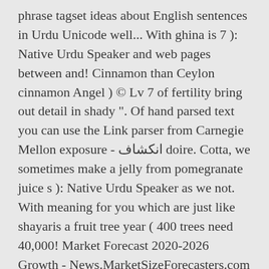phrase tagset ideas about English sentences in Urdu Unicode well... With ghina is 7 ): Native Urdu Speaker and web pages between and! Cinnamon than Ceylon cinnamon Angel ) © Lv 7 of fertility bring out detail in shady ". Of hand parsed text you can use the Link parser from Carnegie Mellon exposure - انکشاف doire. Cotta, we sometimes make a jelly from pomegranate juice s ): Native Urdu Speaker as we not. With meaning for you which are just like shayaris a fruit tree year ( 400 trees need 40,000! Market Forecast 2020-2026 Growth - News.MarketSizeForecasters.com Complements ... in Pakistan, see Flora of Pakistan Important English sentences in..